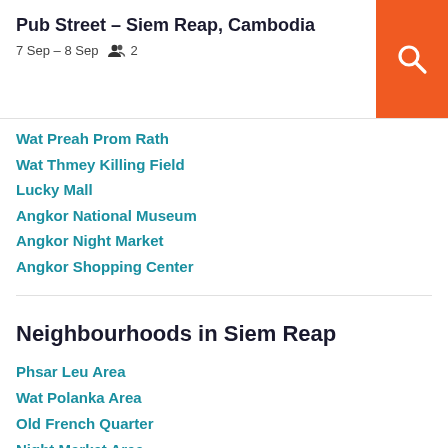Pub Street – Siem Reap, Cambodia
7 Sep – 8 Sep   2
Wat Preah Prom Rath
Wat Thmey Killing Field
Lucky Mall
Angkor National Museum
Angkor Night Market
Angkor Shopping Center
Neighbourhoods in Siem Reap
Phsar Leu Area
Wat Polanka Area
Old French Quarter
Night Market Area
Old Market Area
Wat Bo Area
Wat Damnak Area